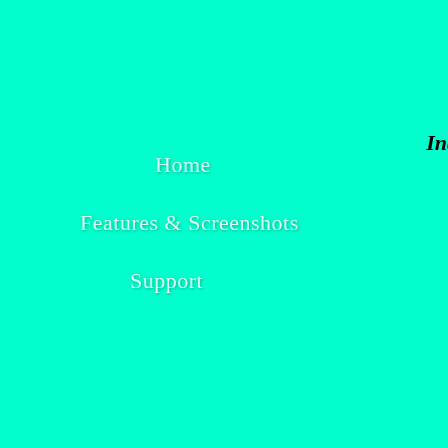Home
Features & Screenshots
Support
Ind